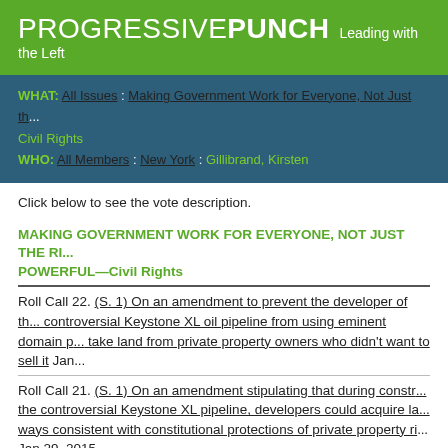PROGRESSIVE PUNCH Leading with the Left
WHAT: All Issues : Making Government Work for Everyone, Not Just th... Civil Rights WHO: All Members : New York : Gillibrand, Kirsten
Click below to see the vote description.
MAKING GOVERNMENT WORK FOR EVERYONE, NOT JUST THE RI... POWERFUL—Civil Rights
Roll Call 22. (S. 1) On an amendment to prevent the developer of the controversial Keystone XL oil pipeline from using eminent domain p... take land from private property owners who didn't want to sell it Jan...
Roll Call 21. (S. 1) On an amendment stipulating that during constr... the controversial Keystone XL pipeline, developers could acquire la... ways consistent with constitutional protections of private property ri... Jan 29, 2015